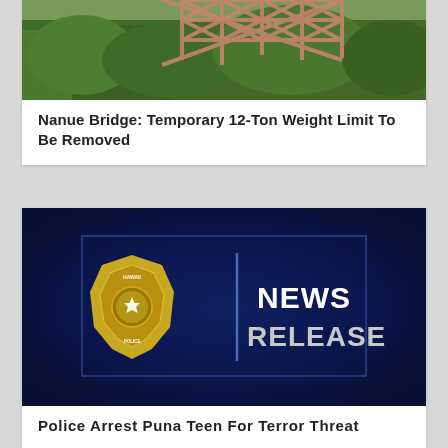[Figure (photo): Aerial view of a metal bridge structure with green trees below]
Nanue Bridge: Temporary 12-Ton Weight Limit To Be Removed
[Figure (photo): Hawaii Police Department News Release graphic with gold badge on dark blue background]
Police Arrest Puna Teen For Terror Threat